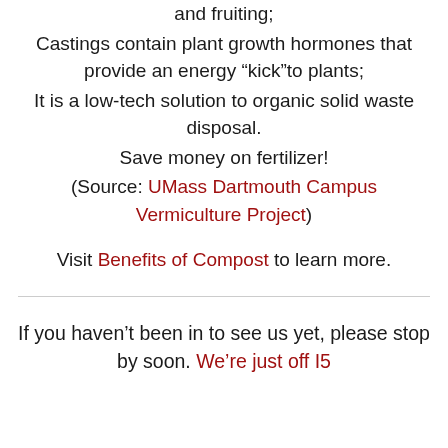and fruiting;
Castings contain plant growth hormones that provide an energy “kick”to plants;
It is a low-tech solution to organic solid waste disposal.
Save money on fertilizer!
(Source: UMass Dartmouth Campus Vermiculture Project)
Visit Benefits of Compost to learn more.
If you haven’t been in to see us yet, please stop by soon. We’re just off I5